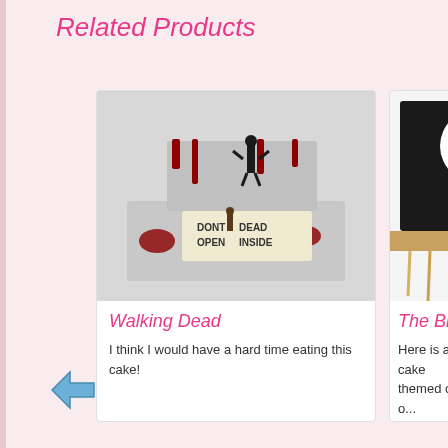Related Products
[Figure (photo): Walking Dead themed cake with zombie silhouette and blood decorations, sign reading 'DONT OPEN DEAD INSIDE']
Walking Dead
I think I would have a hard time eating this cake!
[Figure (photo): The Big Lebowski themed cake, partially visible, showing black and white face design with fringe/noodle decoration]
The Big Lebowski C...
Here is a cake themed off o... movie...The Big Lebowski m...